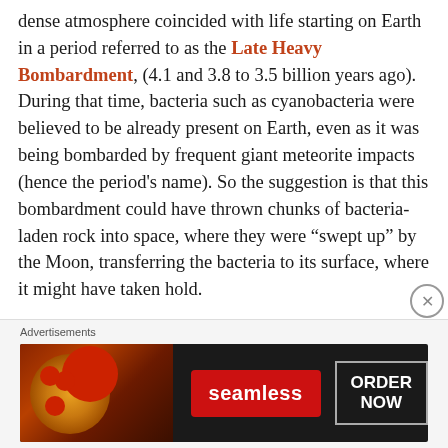dense atmosphere coincided with life starting on Earth in a period referred to as the Late Heavy Bombardment, (4.1 and 3.8 to 3.5 billion years ago). During that time, bacteria such as cyanobacteria were believed to be already present on Earth, even as it was being bombarded by frequent giant meteorite impacts (hence the period's name). So the suggestion is that this bombardment could have thrown chunks of bacteria-laden rock into space, where they were “swept up” by the Moon, transferring the bacteria to its surface, where it might have taken hold.
It’s unlikely that if it go started, life on the Moon got very far; within a few million years after the end of the Moon’s volcanic period the atmosphere would have
Advertisements
[Figure (other): Seamless food delivery advertisement showing pizza image on left, red Seamless logo button in center, and ORDER NOW button on right, on dark background.]